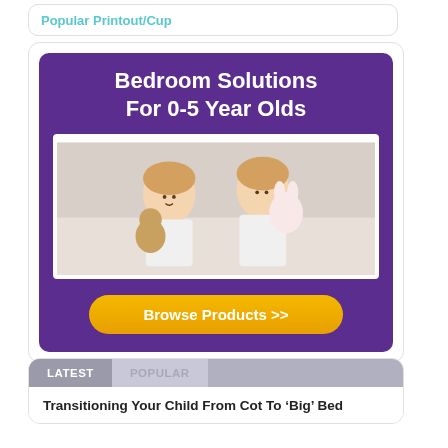Popular Printout/Cup
[Figure (illustration): Promotional banner for 'Bedroom Solutions For 0-5 Year Olds' showing two young girls on a bed with stuffed animals, with a purple background and orange 'Browse Products >>' button]
LATEST | POPULAR
Transitioning Your Child From Cot To 'Big' Bed